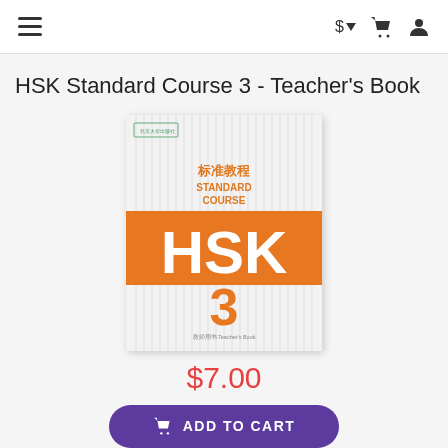$ ▾ 🛒 👤
HSK Standard Course 3 - Teacher's Book
[Figure (photo): Book cover of HSK Standard Course 3 Teacher's Book. White background with vertical lines, orange banner with large white 'HSK' text, orange '3' numeral, Chinese characters '标准教程 STANDARD COURSE', small Chinese text, and a dark red block at the bottom right corner.]
$7.00
ADD TO CART